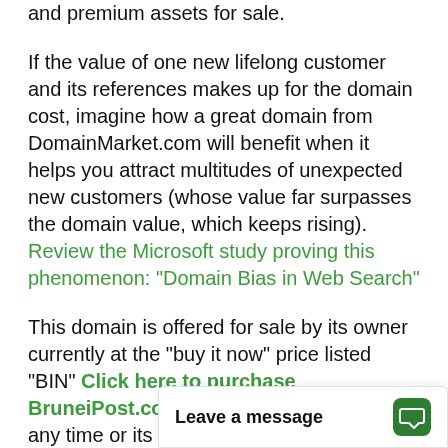and premium assets for sale.

If the value of one new lifelong customer and its references makes up for the domain cost, imagine how a great domain from DomainMarket.com will benefit when it helps you attract multitudes of unexpected new customers (whose value far surpasses the domain value, which keeps rising). Review the Microsoft study proving this phenomenon: "Domain Bias in Web Search"
This domain is offered for sale by its owner currently at the "buy it now" price listed "BIN" Click here to purchase BruneiPost.com, but could be withdrawn at any time or its price potentially substantially raised. Also, once sold, the next owner, your domain competitor, would likely never re-sell it again, especially to his comp... take all your custome...